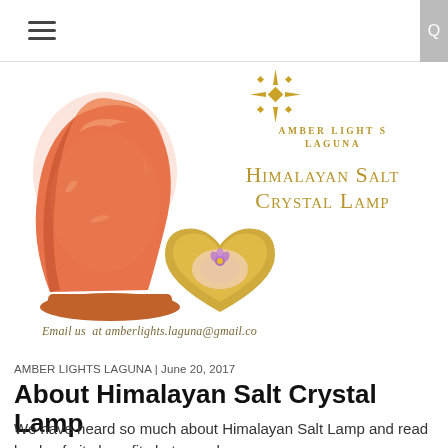≡  [hamburger menu]
[Figure (photo): Himalayan salt crystal lamp glowing orange-pink on a wooden base, with a decorative golden heart-shaped dish containing pink salt crystals and a small purple flower, on a white background. Brand logo and product title overlay on right side.]
AMBER LIGHTS LAGUNA
HIMALAYAN SALT CRYSTAL LAMP
Email us  at amberlights.laguna@gmail.co
AMBER LIGHTS LAGUNA | June 20, 2017
About Himalayan Salt Crystal Lamp
We have heard so much about Himalayan Salt Lamp and read loads of  its benefits but somehow...